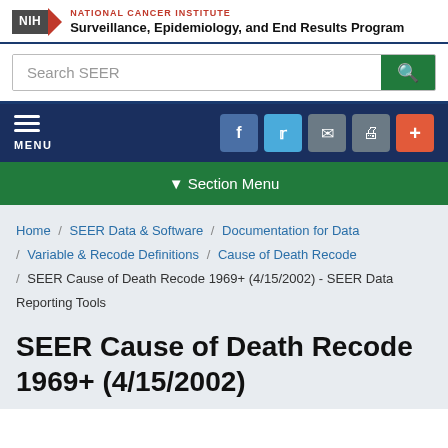NATIONAL CANCER INSTITUTE Surveillance, Epidemiology, and End Results Program
Search SEER
MENU
▼ Section Menu
Home / SEER Data & Software / Documentation for Data / Variable & Recode Definitions / Cause of Death Recode / SEER Cause of Death Recode 1969+ (4/15/2002) - SEER Data Reporting Tools
SEER Cause of Death Recode 1969+ (4/15/2002)